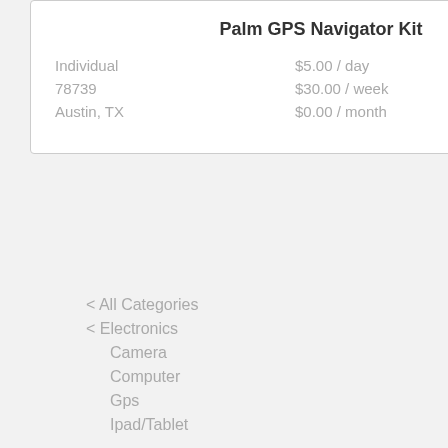| Palm GPS Navigator Kit |  |
| Individual | $5.00 / day |
| 78739 | $30.00 / week |
| Austin, TX | $0.00 / month |
< All Categories
< Electronics
Camera
Computer
Gps
Ipad/Tablet
Misc. Electronic
Video Game
Shop Location
Anywhere
Alexandria, LA
Atlanta, GA
Austin, TX